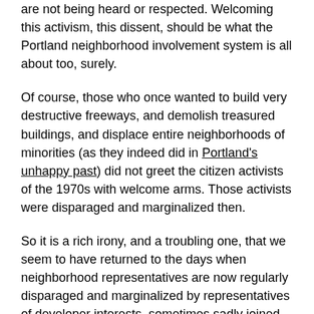are not being heard or respected. Welcoming this activism, this dissent, should be what the Portland neighborhood involvement system is all about too, surely.
Of course, those who once wanted to build very destructive freeways, and demolish treasured buildings, and displace entire neighborhoods of minorities (as they indeed did in Portland's unhappy past) did not greet the citizen activists of the 1970s with welcome arms. Those activists were disparaged and marginalized then.
So it is a rich irony, and a troubling one, that we seem to have returned to the days when neighborhood representatives are now regularly disparaged and marginalized by representatives of developer interests, sometimes sadly joined by representatives of the City, and sometimes, their sympathetic allies within the neighborhood involvement system itself. Worse, they are subject to political pressure and control, using